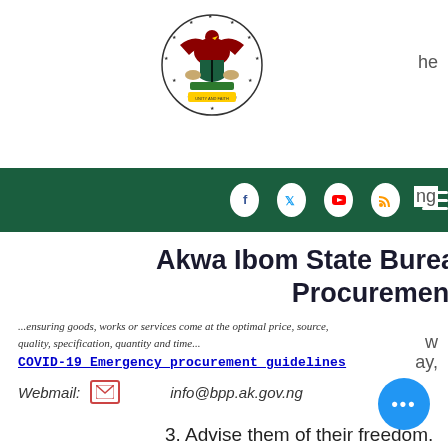[Figure (logo): Nigerian coat of arms / seal — circular emblem with eagle, shield, horses, and stars]
[Figure (screenshot): Dark green navigation bar with social media icons: Facebook, Twitter, YouTube, RSS feed, and hamburger menu]
Akwa Ibom State Bureau of Public Procurement
...ensuring goods, works or services come at the optimal price, source, quality, specification, quantity and time...
COVID-19 Emergency procurement guidelines
Webmail:  info@bpp.ak.gov.ng
3. Advise them of their freedom.
Invest  some time in a different room with your canine to remind them of their  flexibility, or place them in their crate for a bit.
Once they're used to it, attempt letting